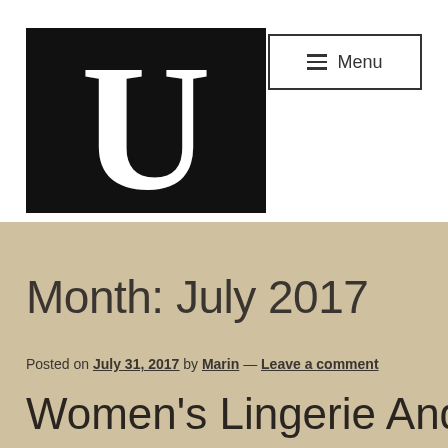[Figure (logo): Black square logo with white serif letter U]
☰ Menu
Month: July 2017
Posted on July 31, 2017 by Marin — Leave a comment
Women's Lingerie And